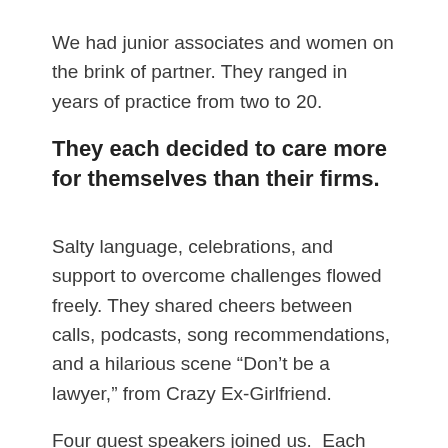We had junior associates and women on the brink of partner. They ranged in years of practice from two to 20.
They each decided to care more for themselves than their firms.
Salty language, celebrations, and support to overcome challenges flowed freely. They shared cheers between calls, podcasts, song recommendations, and a hilarious scene “Don’t be a lawyer,” from Crazy Ex-Girlfriend.
Four guest speakers joined us. Each does